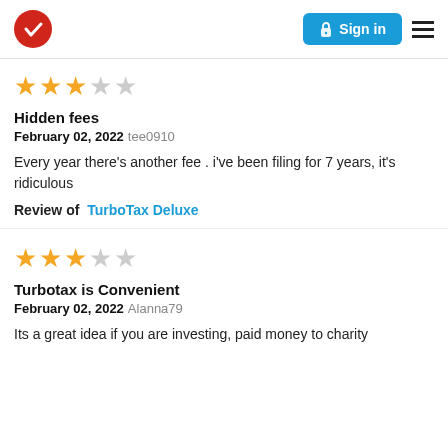Sign in
Hidden fees
February 02, 2022 tee0910
Every year there's another fee . i've been filing for 7 years, it's ridiculous
Review of TurboTax Deluxe
Turbotax is Convenient
February 02, 2022 Alanna79
Its a great idea if you are investing, paid money to charity